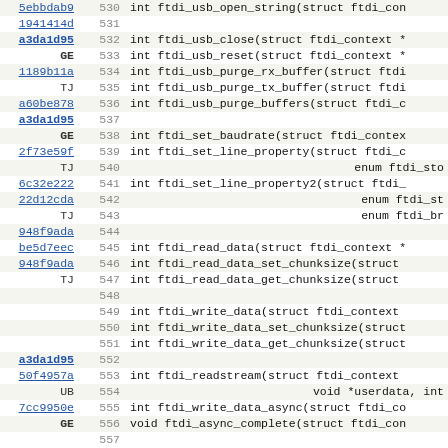| hash | line | code |
| --- | --- | --- |
| 5ebbdab9 | 530 | int ftdi_usb_open_string(struct ftdi_con |
| 1941414d | 531 |  |
| a3da1d95 | 532 | int ftdi_usb_close(struct ftdi_context * |
| GE | 533 | int ftdi_usb_reset(struct ftdi_context * |
| 1189b11a | 534 | int ftdi_usb_purge_rx_buffer(struct ftdi |
| TJ | 535 | int ftdi_usb_purge_tx_buffer(struct ftdi |
| a60be878 | 536 | int ftdi_usb_purge_buffers(struct ftdi_c |
| a3da1d95 | 537 |  |
| GE | 538 | int ftdi_set_baudrate(struct ftdi_contex |
| 2f73e59f | 539 | int ftdi_set_line_property(struct ftdi_c |
| TJ | 540 | enum ftdi_sto |
| 6c32e222 | 541 | int ftdi_set_line_property2(struct ftdi_ |
| 22d12cda | 542 | enum ftdi_st |
| TJ | 543 | enum ftdi_br |
| 948f9ada | 544 |  |
| be5d7eec | 545 | int ftdi_read_data(struct ftdi_context * |
| 948f9ada | 546 | int ftdi_read_data_set_chunksize(struct |
| TJ | 547 | int ftdi_read_data_get_chunksize(struct |
|  | 548 |  |
|  | 549 | int ftdi_write_data(struct ftdi_context |
|  | 550 | int ftdi_write_data_set_chunksize(struct |
|  | 551 | int ftdi_write_data_get_chunksize(struct |
| a3da1d95 | 552 |  |
| 50f4957a | 553 | int ftdi_readstream(struct ftdi_context |
| UB | 554 | void *userdata, int |
| 7cc9950e | 555 | int ftdi_write_data_async(struct ftdi_co |
| GE | 556 | void ftdi_async_complete(struct ftdi_con |
|  | 557 |  |
| 866a6dbb | 558 | struct ftdi_transfer_control *ftdi_read_ |
| JZ | 559 | int ftdi_transfer_data_done(struct ftdi_ |
|  | 560 |  |
| fd282db3 | 561 | int DEPRECATED(ftdi_enable_bitbang(struc |
| a3da1d95 | 562 | int ftdi_disable_bitbang( |